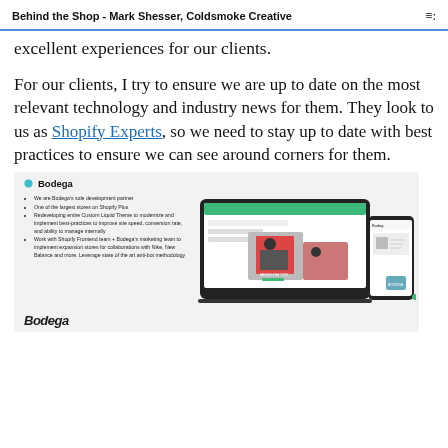Behind the Shop - Mark Shesser, Coldsmoke Creative
excellent experiences for our clients.
For our clients, I try to ensure we are up to date on the most relevant technology and industry news for them. They look to us as Shopify Experts, so we need to stay up to date with best practices to ensure we can see around corners for them.
[Figure (screenshot): Screenshot of a Bodega case study slide showing the Bodega logo, bullet points about their Shopify Plus development partnership, and a laptop/mobile mockup of the Bodega website with toy products]
Bodega